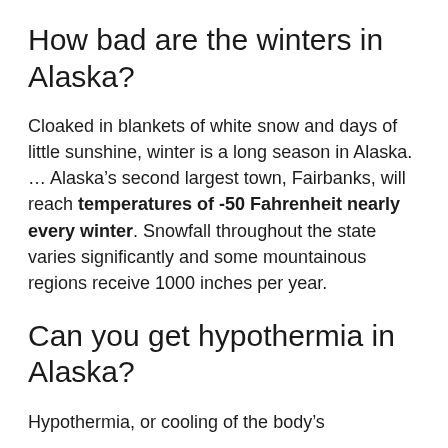How bad are the winters in Alaska?
Cloaked in blankets of white snow and days of little sunshine, winter is a long season in Alaska. … Alaska's second largest town, Fairbanks, will reach temperatures of -50 Fahrenheit nearly every winter. Snowfall throughout the state varies significantly and some mountainous regions receive 1000 inches per year.
Can you get hypothermia in Alaska?
Hypothermia, or cooling of the body's temperature, has been a portion of the…